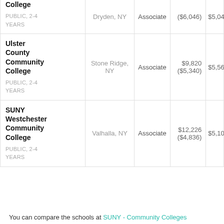| School | Location | Degree | Cost | Net Price |
| --- | --- | --- | --- | --- |
| College
PUBLIC, 2-4 YEARS | Dryden, NY | Associate | ($6,046) | $5,04... |
| Ulster County Community College
PUBLIC, 2-4 YEARS | Stone Ridge, NY | Associate | $9,820
($5,340) | $5,56... |
| SUNY Westchester Community College
PUBLIC, 2-4 YEARS | Valhalla, NY | Associate | $12,226
($4,836) | $5,10... |
You can compare the schools at SUNY - Community Colleges